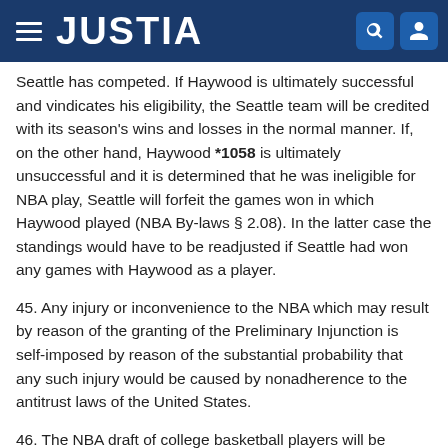JUSTIA
Seattle has competed. If Haywood is ultimately successful and vindicates his eligibility, the Seattle team will be credited with its season's wins and losses in the normal manner. If, on the other hand, Haywood *1058 is ultimately unsuccessful and it is determined that he was ineligible for NBA play, Seattle will forfeit the games won in which Haywood played (NBA By-laws § 2.08). In the latter case the standings would have to be readjusted if Seattle had won any games with Haywood as a player.
45. Any injury or inconvenience to the NBA which may result by reason of the granting of the Preliminary Injunction is self-imposed by reason of the substantial probability that any such injury would be caused by nonadherence to the antitrust laws of the United States.
46. The NBA draft of college basketball players will be